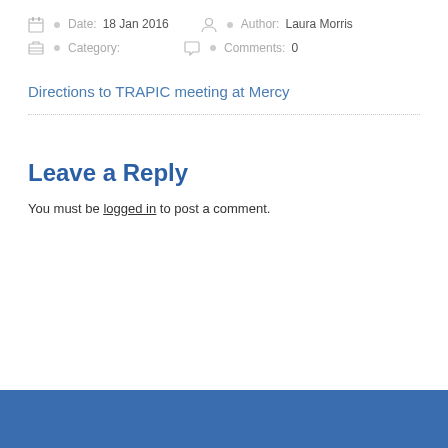Date: 18 Jan 2016   Author: Laura Morris   Category:   Comments: 0
Directions to TRAPIC meeting at Mercy
Leave a Reply
You must be logged in to post a comment.